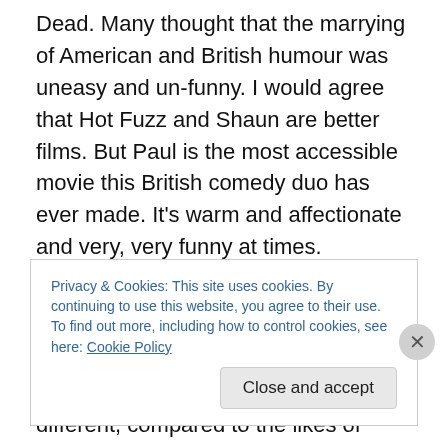Dead. Many thought that the marrying of American and British humour was uneasy and un-funny. I would agree that Hot Fuzz and Shaun are better films. But Paul is the most accessible movie this British comedy duo has ever made. It's warm and affectionate and very, very funny at times.

I thought that far from hindering the film, the mix of American acting talent and humour with British comedy and perspective, gave this film something different, compared to the likes of Fuzz and Shaun. One minute
Privacy & Cookies: This site uses cookies. By continuing to use this website, you agree to their use.
To find out more, including how to control cookies, see here: Cookie Policy